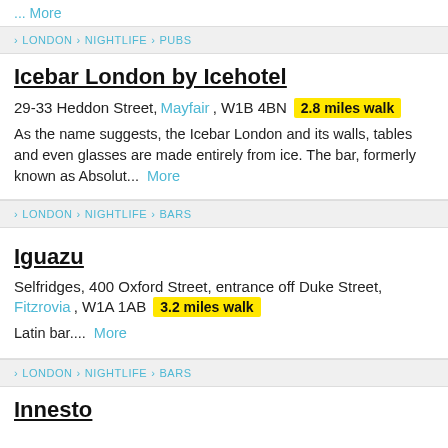... More
> LONDON > NIGHTLIFE > PUBS
Icebar London by Icehotel
29-33 Heddon Street, Mayfair, W1B 4BN  2.8 miles walk
As the name suggests, the Icebar London and its walls, tables and even glasses are made entirely from ice. The bar, formerly known as Absolut...  More
> LONDON > NIGHTLIFE > BARS
Iguazu
Selfridges, 400 Oxford Street, entrance off Duke Street, Fitzrovia, W1A 1AB  3.2 miles walk
Latin bar....  More
> LONDON > NIGHTLIFE > BARS
Innesto